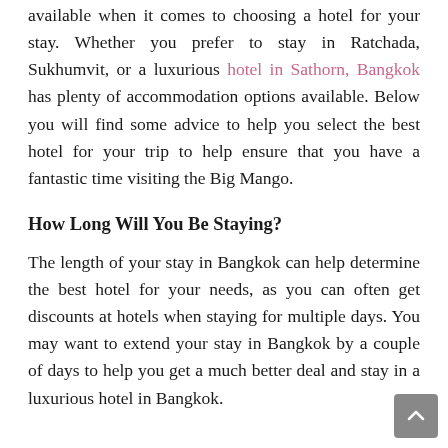available when it comes to choosing a hotel for your stay. Whether you prefer to stay in Ratchada, Sukhumvit, or a luxurious hotel in Sathorn, Bangkok has plenty of accommodation options available. Below you will find some advice to help you select the best hotel for your trip to help ensure that you have a fantastic time visiting the Big Mango.
How Long Will You Be Staying?
The length of your stay in Bangkok can help determine the best hotel for your needs, as you can often get discounts at hotels when staying for multiple days. You may want to extend your stay in Bangkok by a couple of days to help you get a much better deal and stay in a luxurious hotel in Bangkok.